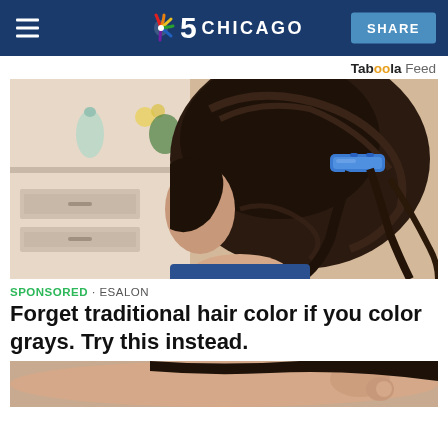NBC 5 CHICAGO | SHARE
Taboola Feed
[Figure (photo): Woman seen from behind with dark hair styled up and clipped with a blue hair clip, with hair dye or treatment applied; blurred kitchen/bathroom background]
SPONSORED · ESALON
Forget traditional hair color if you color grays. Try this instead.
[Figure (photo): Partial view of second sponsored content image, showing a woman's face from the side]